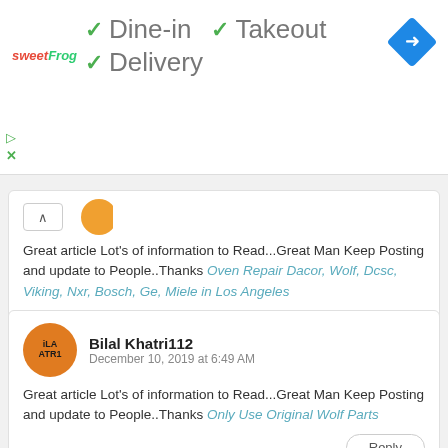[Figure (screenshot): Ad banner with sweetFrog logo, dine-in/takeout/delivery checkmarks, navigation icon]
Great article Lot's of information to Read...Great Man Keep Posting and update to People..Thanks Oven Repair Dacor, Wolf, Dcsc, Viking, Nxr, Bosch, Ge, Miele in Los Angeles
Reply
Bilal Khatri112
December 10, 2019 at 6:49 AM
Great article Lot's of information to Read...Great Man Keep Posting and update to People..Thanks Only Use Original Wolf Parts
Reply